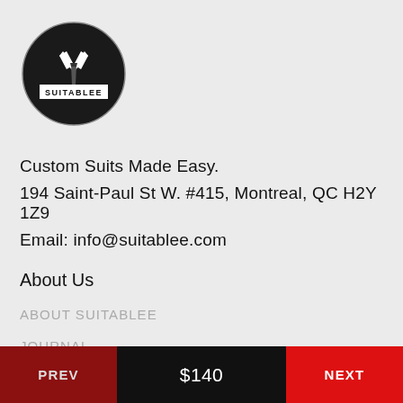[Figure (logo): Suitablee logo: black circle with suit/tie illustration and 'SUITABLEE' text banner]
Custom Suits Made Easy.
194 Saint-Paul St W. #415, Montreal, QC H2Y 1Z9
Email: info@suitablee.com
About Us
ABOUT SUITABLEE
JOURNAL
PREV   $140   NEXT